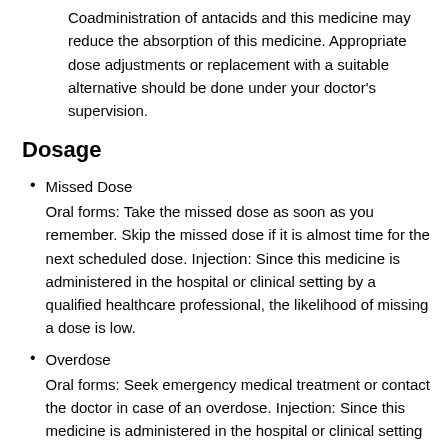Coadministration of antacids and this medicine may reduce the absorption of this medicine. Appropriate dose adjustments or replacement with a suitable alternative should be done under your doctor's supervision.
Dosage
Missed Dose
Oral forms: Take the missed dose as soon as you remember. Skip the missed dose if it is almost time for the next scheduled dose. Injection: Since this medicine is administered in the hospital or clinical setting by a qualified healthcare professional, the likelihood of missing a dose is low.
Overdose
Oral forms: Seek emergency medical treatment or contact the doctor in case of an overdose. Injection: Since this medicine is administered in the hospital or clinical setting by a qualified healthcare professional, the likelihood of an overdose is very low. However, emergency medical treatment will be initiated by the doctor if an overdose is suspected.